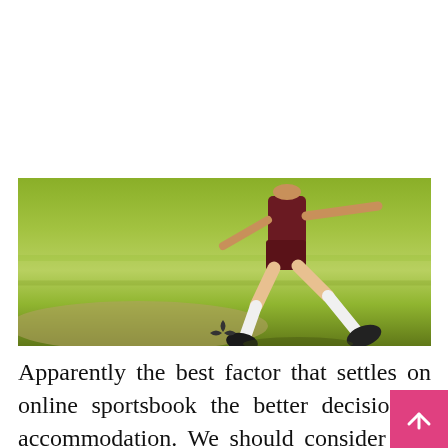[Figure (photo): A soccer player in dark red uniform kicking on a green grass field, showing legs and feet in white socks and dark cleats, with a blurred green background]
Apparently the best factor that settles on online sportsbook the better decision is accommodation. We should consider this one briefly. You can pick between getting dressed, going out, going to a wagering club or